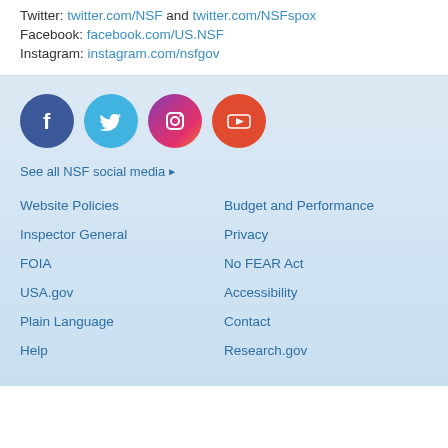Twitter: twitter.com/NSF and twitter.com/NSFspox
Facebook: facebook.com/US.NSF
Instagram: instagram.com/nsfgov
[Figure (illustration): Four social media icons: Facebook (blue circle), Twitter (light blue circle), Instagram (gradient circle), YouTube (red-orange circle)]
See all NSF social media ▶
Website Policies
Budget and Performance
Inspector General
Privacy
FOIA
No FEAR Act
USA.gov
Accessibility
Plain Language
Contact
Help
Research.gov